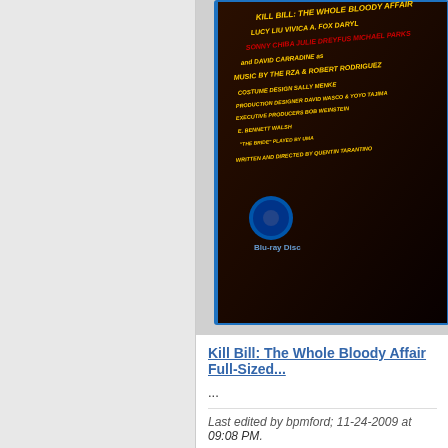[Figure (photo): Partial view of a Kill Bill Blu-ray disc case with blue border, showing movie credits text in yellow and red on dark background, with Blu-ray logo visible]
Kill Bill: The Whole Bloody Affair Full-Sized...
...
Last edited by bpmford; 11-24-2009 at 09:08 PM.
Thanks given by: bubba zanetti (03-27-2016), gabuchan (04-...
Post Reply
Blu-ray Forum > Movies > Blu-ray Movies - North America